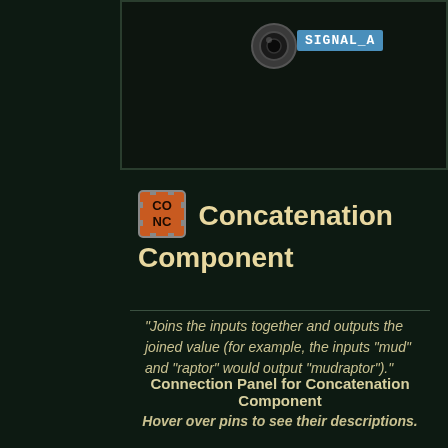[Figure (screenshot): Dark module panel showing a jack connector and a cyan label reading SIGNAL_A]
Concatenation Component
"Joins the inputs together and outputs the joined value (for example, the inputs "mud" and "raptor" would output "mudraptor")."
Connection Panel for Concatenation Component
Hover over pins to see their descriptions.